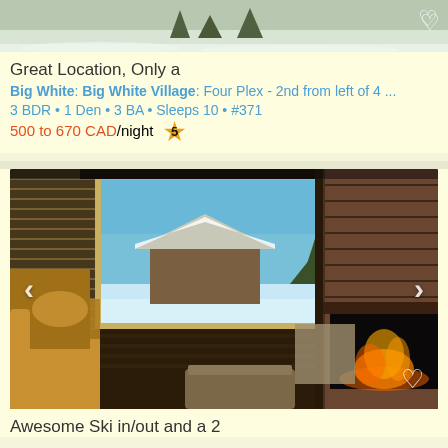[Figure (photo): Top portion of a snowy exterior photo of a property listing with heart icon]
Great Location, Only a
Big White: Big White Village: Four Plex - 2nd from left of 4 ...
3 BDR • 1 Den • 3 BA • Sleeps 10 • #371
500 to 670 CAD/night ⭐5
[Figure (photo): Interior photo of a cozy ski chalet living room with yellow armchair, large window showing snowy exterior with cabin and trees, brick fireplace with glowing fire on the right. Navigation arrows visible on left and right sides, heart icon bottom right.]
Awesome Ski in/out and a 2